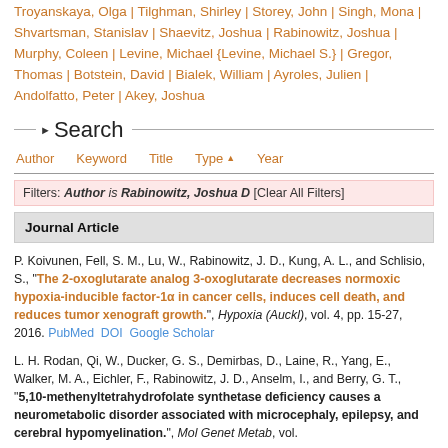Troyanskaya, Olga | Tilghman, Shirley | Storey, John | Singh, Mona | Shvartsman, Stanislav | Shaevitz, Joshua | Rabinowitz, Joshua | Murphy, Coleen | Levine, Michael {Levine, Michael S.} | Gregor, Thomas | Botstein, David | Bialek, William | Ayroles, Julien | Andolfatto, Peter | Akey, Joshua
Search
Author | Keyword | Title | Type | Year
Filters: Author is Rabinowitz, Joshua D [Clear All Filters]
Journal Article
P. Koivunen, Fell, S. M., Lu, W., Rabinowitz, J. D., Kung, A. L., and Schlisio, S., "The 2-oxoglutarate analog 3-oxoglutarate decreases normoxic hypoxia-inducible factor-1α in cancer cells, induces cell death, and reduces tumor xenograft growth.", Hypoxia (Auckl), vol. 4, pp. 15-27, 2016. PubMed DOI Google Scholar
L. H. Rodan, Qi, W., Ducker, G. S., Demirbas, D., Laine, R., Yang, E., Walker, M. A., Eichler, F., Rabinowitz, J. D., Anselm, I., and Berry, G. T., "5,10-methenyltetrahydrofolate synthetase deficiency causes a neurometabolic disorder associated with microcephaly, epilepsy, and cerebral hypomyelination.", Mol Genet Metab, vol.